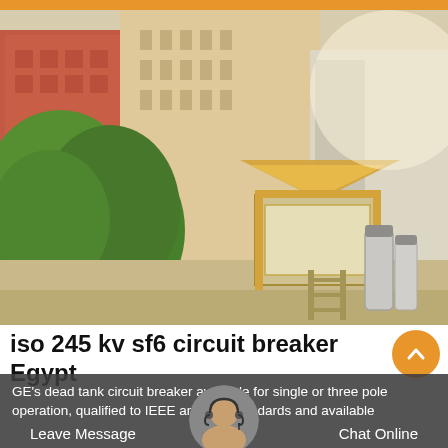[Figure (photo): Outdoor photograph showing a large electrical equipment (SF6 circuit breaker) on a truck or transport vehicle in an urban setting with trees on the left, red building in background, and gas cylinders on the right side.]
iso 245 kv sf6 circuit breaker Egypt
GE's dead tank circuit breaker available for single or three pole operation, qualified to IEEE and IEC standards and available